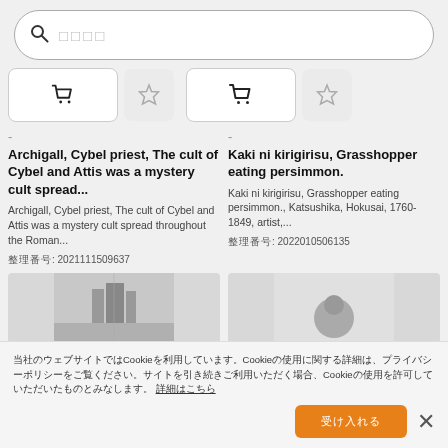[Figure (screenshot): Search bar with magnifying glass icon and Japanese placeholder text]
[Figure (screenshot): Two shopping cart buttons and two star/favorite buttons for two items]
-
Archigall, Cybel priest, The cult of Cybel and Attis was a mystery cult spread...
Archigall, Cybel priest, The cult of Cybel and Attis was a mystery cult spread throughout the Roman...
整理番号: 2021111509637
-
Kaki ni kirigirisu, Grasshopper eating persimmon.
Kaki ni kirigirisu, Grasshopper eating persimmon., Katsushika, Hokusai, 1760-1849, artist,...
整理番号: 2022010506135
[Figure (photo): Partial black and white photo thumbnail at bottom left]
[Figure (photo): Partial grayscale photo thumbnail at bottom right]
当社のウェブサイトではCookieを利用しています。Cookieの使用に関する詳細は、プライバシーポリシーをご覧ください。サイトを引き続きご利用いただく場合、Cookieの使用を許可していただいたものとみなします。 詳細はこちら
受け入れる